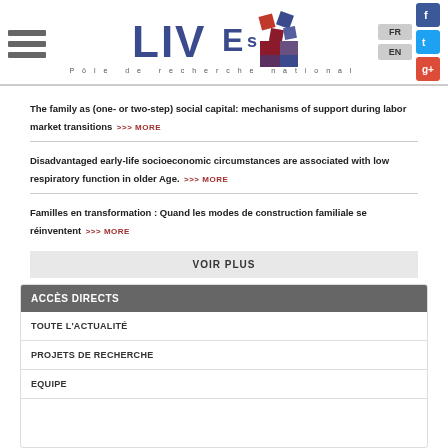[Figure (logo): LIVES Pôle de recherche national logo with colorful squares]
The family as (one- or two-step) social capital: mechanisms of support during labor market transitions >>> MORE
Disadvantaged early-life socioeconomic circumstances are associated with low respiratory function in older Age. >>> MORE
Familles en transformation : Quand les modes de construction familiale se réinventent >>> MORE
VOIR PLUS
ACCÈS DIRECTS
TOUTE L'ACTUALITÉ
PROJETS DE RECHERCHE
EQUIPE